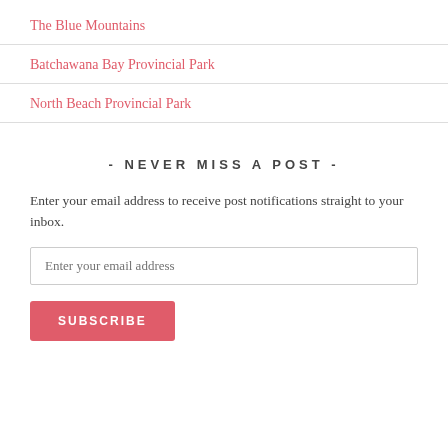The Blue Mountains
Batchawana Bay Provincial Park
North Beach Provincial Park
- NEVER MISS A POST -
Enter your email address to receive post notifications straight to your inbox.
Enter your email address
SUBSCRIBE